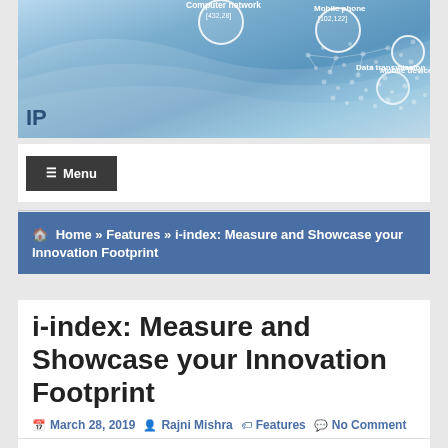[Figure (illustration): Blue technology/network header image with circles representing Mobile phone, Mobile device, Computer network, Data transmission nodes connected by lines, with text 'IP' in lower left]
☰ Menu
🏠 Home » Features » i-index: Measure and Showcase your Innovation Footprint
i-index: Measure and Showcase your Innovation Footprint
📅 March 28, 2019  👤 Rajni Mishra  🏷 Features  💬 No Comment